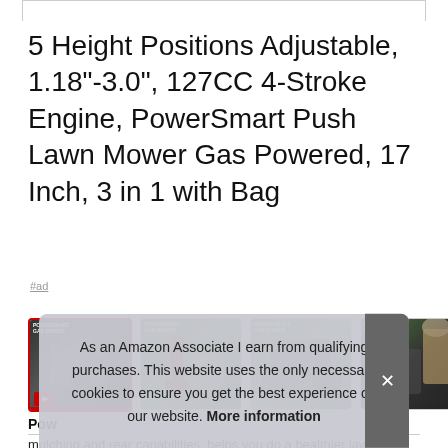5 Height Positions Adjustable, 1.18"-3.0", 127CC 4-Stroke Engine, PowerSmart Push Lawn Mower Gas Powered, 17 Inch, 3 in 1 with Bag
#ad
[Figure (photo): Four product thumbnail images of a PowerSmart push lawn mower showing different angles: engine/handle close-up, red height adjustment lever, mower from behind in grass, and bag/handle detail.]
As an Amazon Associate I earn from qualifying purchases. This website uses the only necessary cookies to ensure you get the best experience on our website. More information
Pow
mulching and rear capabilities, helps you do a healthier lawn